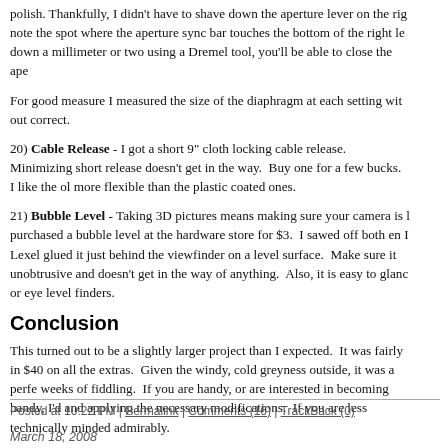polish. Thankfully, I didn't have to shave down the aperture lever on the right lens... note the spot where the aperture sync bar touches the bottom of the right lens... down a millimeter or two using a Dremel tool, you'll be able to close the aper...
For good measure I measured the size of the diaphragm at each setting with... out correct.
20) Cable Release - I got a short 9" cloth locking cable release. Minimizing... short release doesn't get in the way. Buy one for a few bucks. I like the old... more flexible than the plastic coated ones.
21) Bubble Level - Taking 3D pictures means making sure your camera is le... purchased a bubble level at the hardware store for $3. I sawed off both end... I Lexel glued it just behind the viewfinder on a level surface. Make sure it is... unobtrusive and doesn't get in the way of anything. Also, it is easy to glance... or eye level finders.
Conclusion
This turned out to be a slightly larger project than I expected. It was fairly inc... $40 on all the extras. Given the windy, cold greyness outside, it was a perfe... weeks of fiddling. If you are handy, or are interested in becoming handy, I'd... and applying the necessary modifications. If you are less technically minded... admirably.
Medium format stereo slides are fantastic. I haven't seen anything better an... experience doesn't yet exist. Dive in and discover the WOW factor that no c... deliver.
Posted at 10:22 PM | Permalink | Comments (16) | TrackBack (0)
March 18, 2008